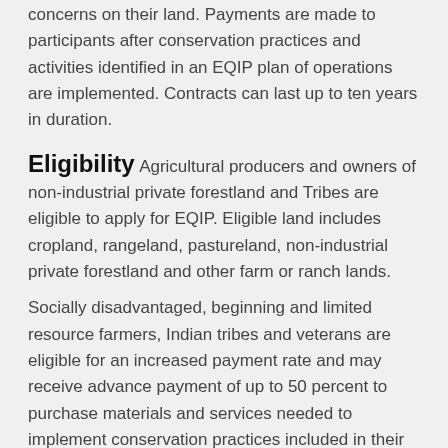concerns on their land. Payments are made to participants after conservation practices and activities identified in an EQIP plan of operations are implemented. Contracts can last up to ten years in duration.
Eligibility
Agricultural producers and owners of non-industrial private forestland and Tribes are eligible to apply for EQIP. Eligible land includes cropland, rangeland, pastureland, non-industrial private forestland and other farm or ranch lands.
Socially disadvantaged, beginning and limited resource farmers, Indian tribes and veterans are eligible for an increased payment rate and may receive advance payment of up to 50 percent to purchase materials and services needed to implement conservation practices included in their EQIP contract.
How to apply
Visit your local USDA Service Center to apply or visit www.nrcs.usda.gov/getstarted.